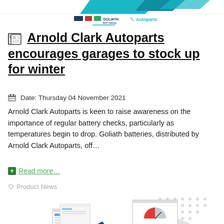[Figure (logo): Arnold Clark Autoparts header banner with teal geometric shapes and partner logos including Goliath Batteries and Autoparts wordmark]
Arnold Clark Autoparts encourages garages to stock up for winter
Date: Thursday 04 November 2021
Arnold Clark Autoparts is keen to raise awareness on the importance of regular battery checks, particularly as temperatures begin to drop. Goliath batteries, distributed by Arnold Clark Autoparts, off…
Read more…
Product News
[Figure (illustration): Isometric illustration showing computer screens with charts, a gauge/speedometer, and automotive components on a white background]